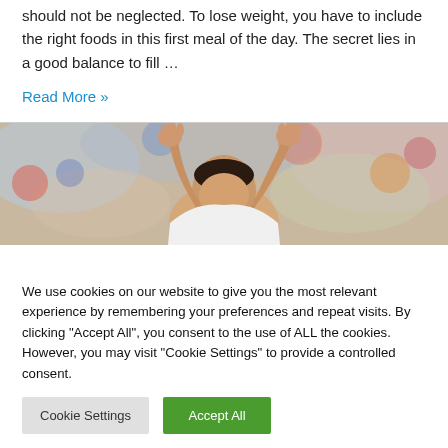should not be neglected. To lose weight, you have to include the right foods in this first meal of the day. The secret lies in a good balance to fill …
Read More »
[Figure (photo): A soccer/football player with arms raised above head, crowd blurred in background]
We use cookies on our website to give you the most relevant experience by remembering your preferences and repeat visits. By clicking "Accept All", you consent to the use of ALL the cookies. However, you may visit "Cookie Settings" to provide a controlled consent.